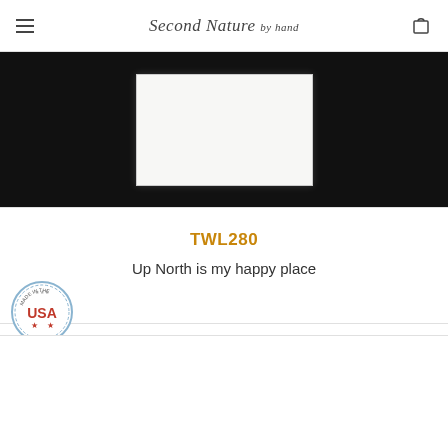Second Nature by Hand
[Figure (photo): Product photo showing a white folded towel on a black background]
TWL280
Up North is my happy place
[Figure (logo): Made in the USA circular badge/seal with red, white and blue colors]
[Figure (photo): Second product listing area, partially visible, white background]